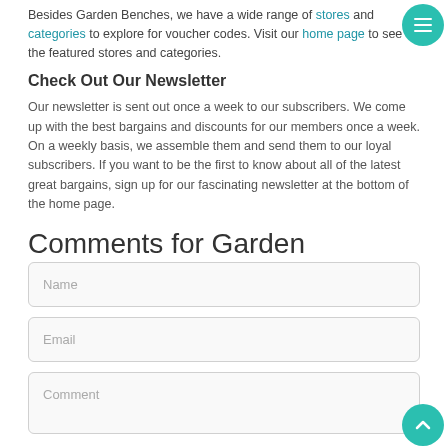Besides Garden Benches, we have a wide range of stores and categories to explore for voucher codes. Visit our home page to see the featured stores and categories.
Check Out Our Newsletter
Our newsletter is sent out once a week to our subscribers. We come up with the best bargains and discounts for our members once a week. On a weekly basis, we assemble them and send them to our loyal subscribers. If you want to be the first to know about all of the latest great bargains, sign up for our fascinating newsletter at the bottom of the home page.
Comments for Garden Benches
Name
Email
Comment